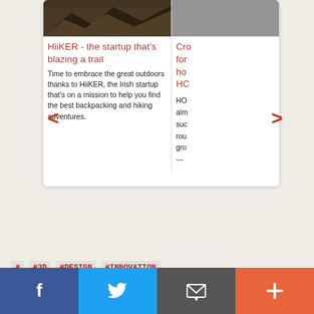[Figure (screenshot): Article card carousel showing HiiKER startup article with mountain photo and partially visible second article]
HiiKER - the startup that's blazing a trail
Time to embrace the great outdoors thanks to HiiKER, the Irish startup that's on a mission to help you find the best backpacking and hiking adventures.
Cro for ho HC
HO alm suc rou gro ---
#   #3D  #DESIGN  #INNOVATION
#FRANCE  #VR  #AR  #VIRTUAL REALITY
#AUGMENTED REALITY
Published on: 13th May 2018
If you would like to enable commenting via your